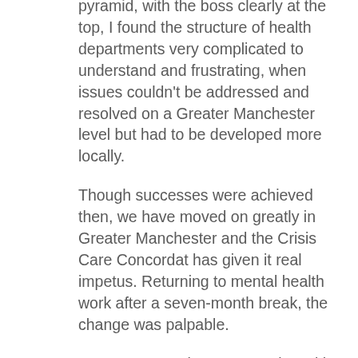pyramid, with the boss clearly at the top, I found the structure of health departments very complicated to understand and frustrating, when issues couldn't be addressed and resolved on a Greater Manchester level but had to be developed more locally.
Though successes were achieved then, we have moved on greatly in Greater Manchester and the Crisis Care Concordat has given it real impetus. Returning to mental health work after a seven-month break, the change was palpable.
A Greater Manchester Mental Health Partnership Board and Executive were formed to drive forward the Crisis Care Concordat and the key element of this was the membership consisting of key leads from all partner agencies as well as commissioners and third-sector organisations. Our action plan was ambitious and creative. Everyone understood that this was the time to think differently about how we could provide the best care for those who required support for